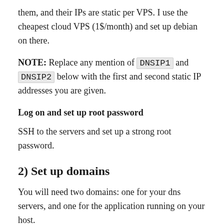them, and their IPs are static per VPS. I use the cheapest cloud VPS (1$/month) and set up debian on there.
NOTE: Replace any mention of DNSIP1 and DNSIP2 below with the first and second static IP addresses you are given.
Log on and set up root password
SSH to the servers and set up a strong root password.
2) Set up domains
You will need two domains: one for your dns servers, and one for the application running on your host.
I use dot.tk to get free throwaway domains. In this case, I might setup a myuniquedns.tk DNS domain and a